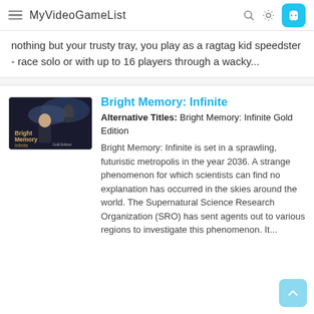MyVideoGameList
nothing but your trusty tray, you play as a ragtag kid speedster - race solo or with up to 16 players through a wacky...
Bright Memory: Infinite
Alternative Titles: Bright Memory: Infinite Gold Edition
Bright Memory: Infinite is set in a sprawling, futuristic metropolis in the year 2036. A strange phenomenon for which scientists can find no explanation has occurred in the skies around the world. The Supernatural Science Research Organization (SRO) has sent agents out to various regions to investigate this phenomenon. It...
[Figure (photo): Thumbnail/cover image for Bright Memory: Infinite showing a character in a futuristic setting with text 'Bright Memory Infinite Gold Edition']